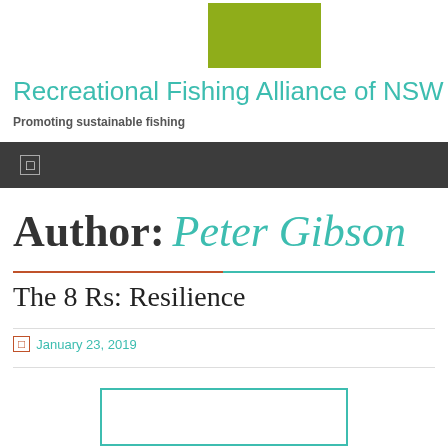Recreational Fishing Alliance of NSW
Promoting sustainable fishing
Author: Peter Gibson
The 8 Rs: Resilience
January 23, 2019
[Figure (other): Teal-bordered image box placeholder at bottom of page]